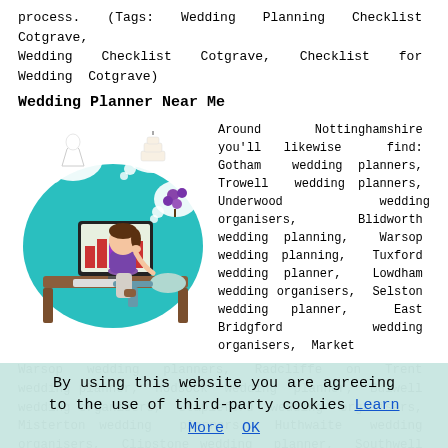process. (Tags: Wedding Planning Checklist Cotgrave, Wedding Checklist Cotgrave, Checklist for Wedding Cotgrave)
Wedding Planner Near Me
[Figure (illustration): Cartoon illustration of a woman sitting at a computer desk, thinking about wedding items (dress, cake, bouquet) shown in thought bubbles, with a teal/turquoise oval background.]
Around Nottinghamshire you'll likewise find: Gotham wedding planners, Trowell wedding planners, Underwood wedding organisers, Blidworth wedding planning, Warsop wedding planning, Tuxford wedding planner, Lowdham wedding organisers, Selston wedding planner, East Bridgford wedding organisers, Market Warsop wedding planners, Radcliffe on Trent wedding planner, Hodsock wedding planner, Bulwell wedding organisers, Stapleford wedding organisers, Misterton wedding planners, Huthwaite wedding organisers, Clipstone wedding planner, Southwell wedding planning, Stapleford wedding planner, Bestwood St Albans wedding planners, Greasley wedding organisers, East Markham wedding planning,
By using this website you are agreeing to the use of third-party cookies Learn More OK